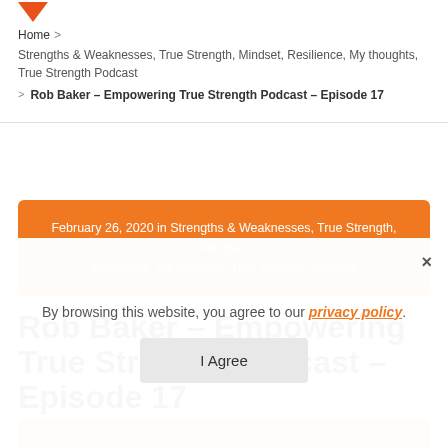[Figure (logo): Orange downward-pointing triangle logo]
Home > Strengths & Weaknesses, True Strength, Mindset, Resilience, My thoughts, True Strength Podcast > Rob Baker – Empowering True Strength Podcast – Episode 17
February 26, 2020 in Strengths & Weaknesses, True Strength, Mindset, Resilience, My thoughts, True Strength Podcast
Rob Baker – Empowering True Strength Podcast – Episode 17
By browsing this website, you agree to our privacy policy.
I Agree